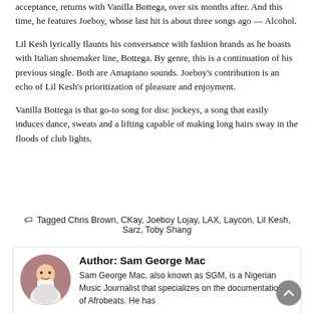acceptance, returns with Vanilla Bottega, over six months after. And this time, he features Joeboy, whose last hit is about three songs ago — Alcohol.
Lil Kesh lyrically flaunts his conversance with fashion brands as he boasts with Italian shoemaker line, Bottega. By genre, this is a continuation of his previous single. Both are Amapiano sounds. Joeboy's contribution is an echo of Lil Kesh's prioritization of pleasure and enjoyment.
Vanilla Bottega is that go-to song for disc jockeys, a song that easily induces dance, sweats and a lifting capable of making long hairs sway in the floods of club lights.
🏷 Tagged Chris Brown, CKay, Joeboy Lojay, LAX, Laycon, Lil Kesh, Sarz, Toby Shang
Author: Sam George Mac
Sam George Mac, also known as SGM, is a Nigerian Music Journalist that specializes on the documentations of Afrobeats. He has